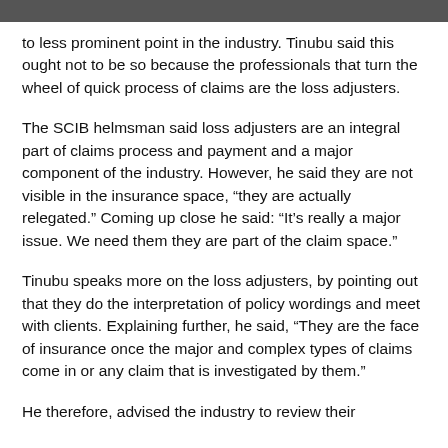to less prominent point in the industry. Tinubu said this ought not to be so because the professionals that turn the wheel of quick process of claims are the loss adjusters.
The SCIB helmsman said loss adjusters are an integral part of claims process and payment and a major component of the industry. However, he said they are not visible in the insurance space, “they are actually relegated.” Coming up close he said: “It’s really a major issue. We need them they are part of the claim space.”
Tinubu speaks more on the loss adjusters, by pointing out that they do the interpretation of policy wordings and meet with clients. Explaining further, he said, “They are the face of insurance once the major and complex types of claims come in or any claim that is investigated by them.”
He therefore, advised the industry to review their